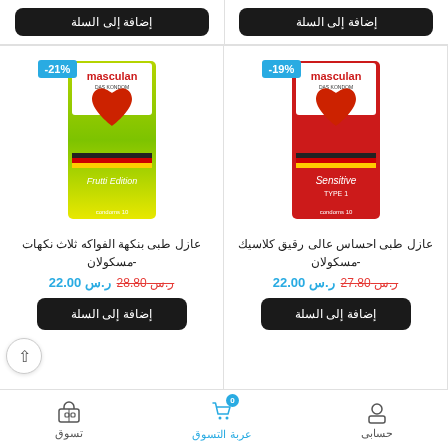إضافة إلى السلة (top left button)
إضافة إلى السلة (top right button)
[Figure (photo): Masculan Sensitive Type 1 red condom box with -19% discount badge]
[Figure (photo): Masculan Frutti Edition green condom box with -21% discount badge]
عازل طبى احساس عالى رقيق كلاسيك -مسكولان
عازل طبى بنكهة الفواكه ثلاث نكهات -مسكولان
ر.س 22.00 ر.س 27.80
ر.س 22.00 ر.س 28.80
إضافة إلى السلة (bottom left button)
إضافة إلى السلة (bottom right button)
حسابى  عربة التسوق  تسوق